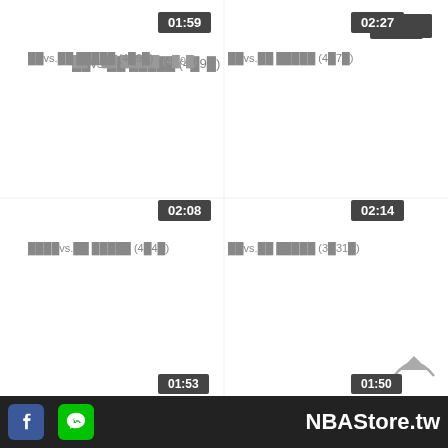[Figure (screenshot): Video thumbnail grid showing NBA game clips with time badges and Chinese text labels. Top row: 01:59 and 02:27. Middle row: 02:08 and 02:14. Bottom partial row: 01:53 and 01:50. Footer bar with Facebook icon, LINE icon, and NBAStore.tw branding.]